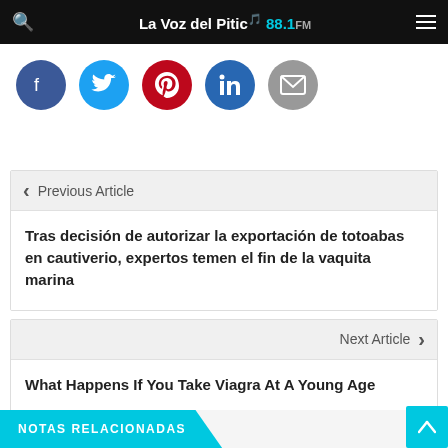La Voz del Pitic 88.1 FM
[Figure (other): Social media share icons: Facebook, Twitter, Pinterest, LinkedIn, Email]
Previous Article
Tras decisión de autorizar la exportación de totoabas en cautiverio, expertos temen el fin de la vaquita marina
Next Article
What Happens If You Take Viagra At A Young Age
NOTAS RELACIONADAS